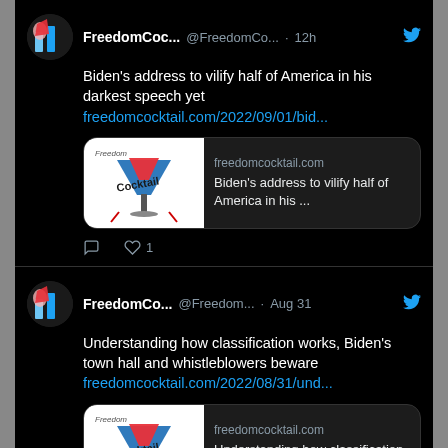[Figure (screenshot): Two tweets from @FreedomCocktail on a dark Twitter interface. First tweet (12h ago): 'Biden's address to vilify half of America in his darkest speech yet' with link card to freedomcocktail.com. Second tweet (Aug 31): 'Understanding how classification works, Biden's town hall and whistleblowers beware' with link card to freedomcocktail.com.]